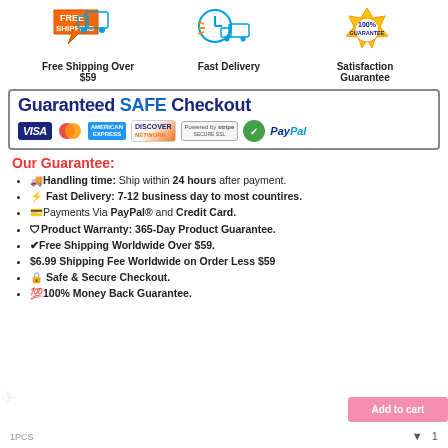[Figure (infographic): Three badge icons: Free Shipping arrow/box icon, Fast Delivery clock/truck icon, 100% Money Back Guarantee gold seal]
Free Shipping Over $59   Fast Delivery   Satisfaction Guarantee
[Figure (infographic): Guaranteed SAFE Checkout banner with payment icons: VISA, MasterCard, American Express, Discover Network, Powered by Stripe, security shield checkmark, PayPal]
Our Guarantee:
🚚Handling time: Ship within 24 hours after payment.
⚡ Fast Delivery: 7-12 business day to most countires.
💳Payments Via PayPal® and Credit Card.
🛡Product Warranty: 365-Day Product Guarantee.
✔Free Shipping Worldwide Over $59.
$6.99 Shipping Fee Worldwide on Order Less $59
🔒 Safe & Secure Checkout.
💯100% Money Back Guarantee.